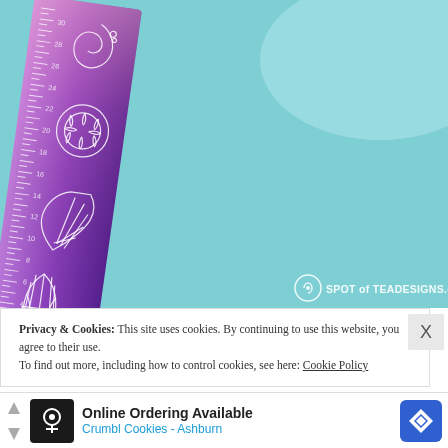[Figure (photo): A purple gradient ruler with white illustrated sea shell and ocean-themed drawings (unicorn shell, sand dollar, cone shell, scallop shell), positioned diagonally against a light teal/cyan background. Watermark reads 'SPOT of TEADESIGNS.com' in white text with a circle logo icon in the bottom right corner.]
Privacy & Cookies: This site uses cookies. By continuing to use this website, you agree to their use.
To find out more, including how to control cookies, see here: Cookie Policy
[Figure (screenshot): Advertisement banner: Online Ordering Available - Crumbl Cookies - Ashburn. Shows a cartoon cookie icon on black background, bold text, blue subtitle, and a blue diamond navigation icon. Has forward/back arrow controls on the left.]